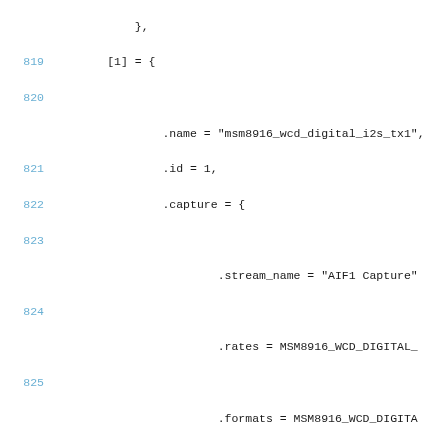Source code listing lines 819-835 showing C struct initialization for msm8916_wcd_digital audio driver